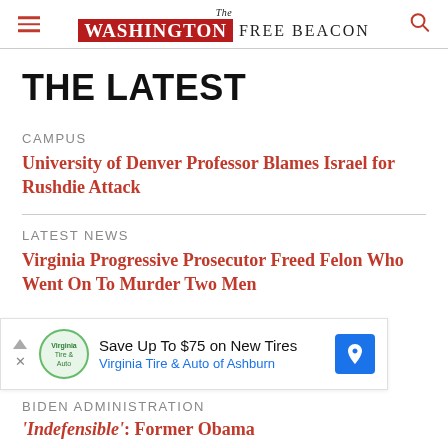The Washington Free Beacon
THE LATEST
CAMPUS
University of Denver Professor Blames Israel for Rushdie Attack
LATEST NEWS
Virginia Progressive Prosecutor Freed Felon Who Went On To Murder Two Men
[Figure (other): Advertisement banner: Save Up To $75 on New Tires, Virginia Tire & Auto of Ashburn]
BIDEN ADMINISTRATION
'Indefensible': Former Obama